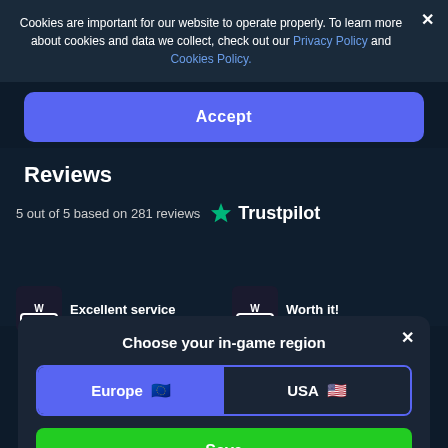Cookies are important for our website to operate properly. To learn more about cookies and data we collect, check out our Privacy Policy and Cookies Policy.
Accept
Reviews
5 out of 5 based on 281 reviews  ★ Trustpilot
Excellent service
Worth it!
Choose your in-game region
Europe 🇪🇺
USA 🇺🇸
Save